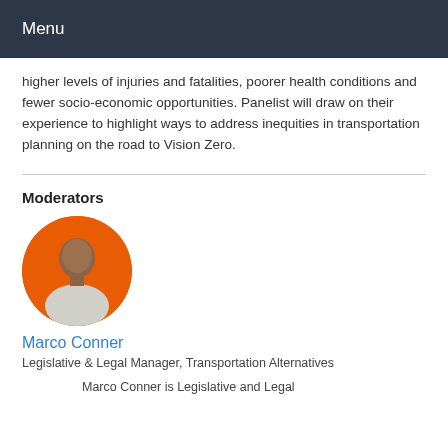Menu
higher levels of injuries and fatalities, poorer health conditions and fewer socio-economic opportunities. Panelist will draw on their experience to highlight ways to address inequities in transportation planning on the road to Vision Zero.
Moderators
[Figure (photo): Circular profile photo of Marco Conner against an orange background]
Marco Conner
Legislative & Legal Manager, Transportation Alternatives
Marco Conner is Legislative and Legal